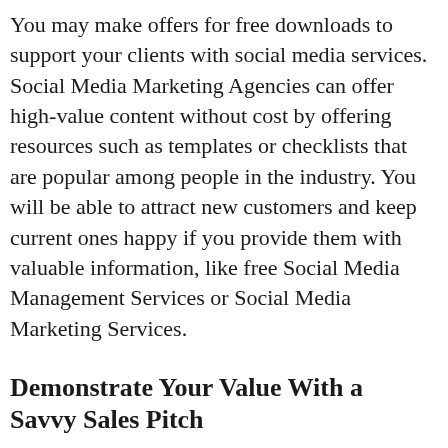You may make offers for free downloads to support your clients with social media services. Social Media Marketing Agencies can offer high-value content without cost by offering resources such as templates or checklists that are popular among people in the industry. You will be able to attract new customers and keep current ones happy if you provide them with valuable information, like free Social Media Management Services or Social Media Marketing Services.
Demonstrate Your Value With a Savvy Sales Pitch
This Social Media Agency Head's Guide to Finding Prospects will give you the tools and resources that are required for a